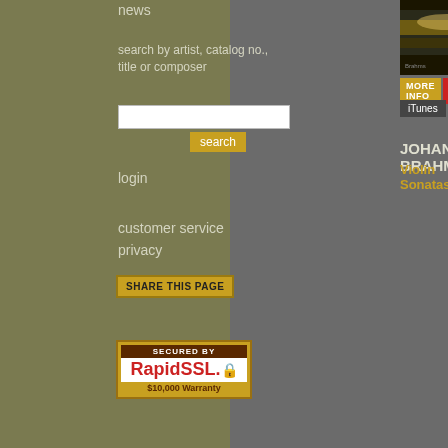news
search by artist, catalog no., title or composer
login
customer service
privacy
[Figure (illustration): SHARE THIS PAGE button]
[Figure (logo): SECURED BY RapidSSL $10,000 Warranty badge]
[Figure (photo): Album cover image for Johannes Brahms Violin Sonatas]
MORE INFO  BUY
iTunes
JOHANNES BRAHMS
Violin Sonatas
Wolfga
Jazz a
Limor
Russe
Palefa
Limor
Jeff Be
Almos
Limor
(piano
REVI
"A wel shown bound pictori perfo chamb Strong
Winne